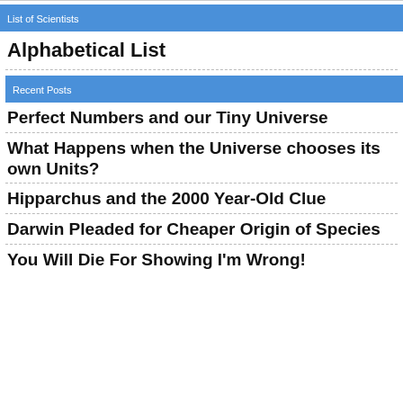List of Scientists
Alphabetical List
Recent Posts
Perfect Numbers and our Tiny Universe
What Happens when the Universe chooses its own Units?
Hipparchus and the 2000 Year-Old Clue
Darwin Pleaded for Cheaper Origin of Species
You Will Die For Showing I'm Wrong!